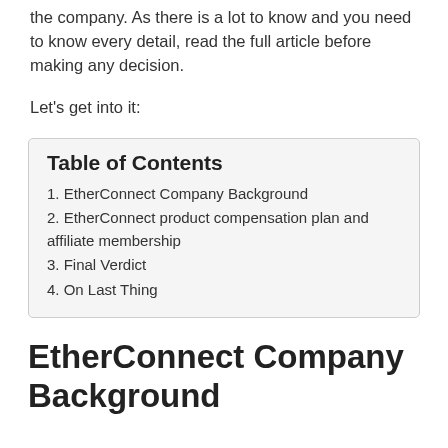the company. As there is a lot to know and you need to know every detail, read the full article before making any decision.
Let's get into it:
| Table of Contents |
| --- |
| 1. EtherConnect Company Background |
| 2. EtherConnect product compensation plan and affiliate membership |
| 3. Final Verdict |
| 4. On Last Thing |
EtherConnect Company Background